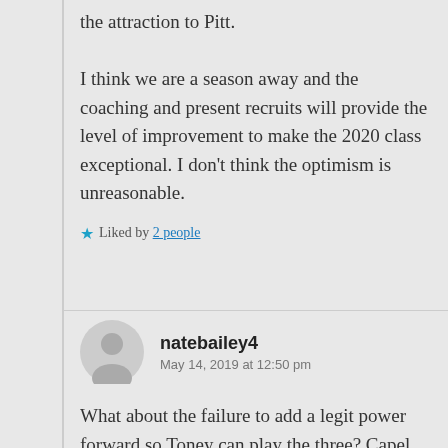the attraction to Pitt.

I think we are a season away and the coaching and present recruits will provide the level of improvement to make the 2020 class exceptional. I don't think the optimism is unreasonable.
★ Liked by 2 people
natebailey4
May 14, 2019 at 12:50 pm
What about the failure to add a legit power forward so Toney can play the three? Capel even said during the season that is Toney's natural spot and he has to play there again next season.